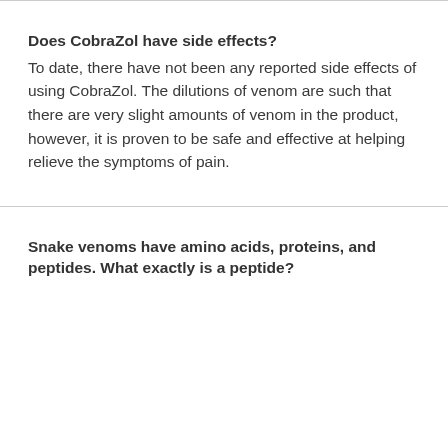Does CobraZol have side effects?
To date, there have not been any reported side effects of using CobraZol. The dilutions of venom are such that there are very slight amounts of venom in the product, however, it is proven to be safe and effective at helping relieve the symptoms of pain.
Snake venoms have amino acids, proteins, and peptides. What exactly is a peptide?